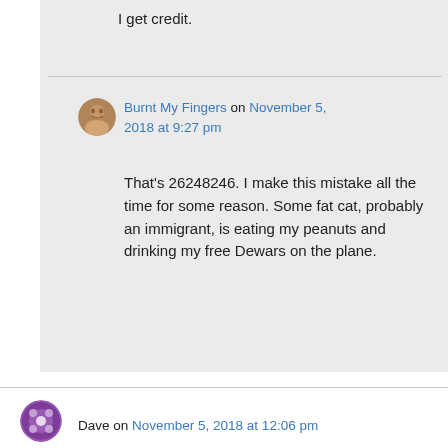I get credit.
Burnt My Fingers on November 5, 2018 at 9:27 pm
That's 26248246. I make this mistake all the time for some reason. Some fat cat, probably an immigrant, is eating my peanuts and drinking my free Dewars on the plane.
Dave on November 5, 2018 at 12:06 pm